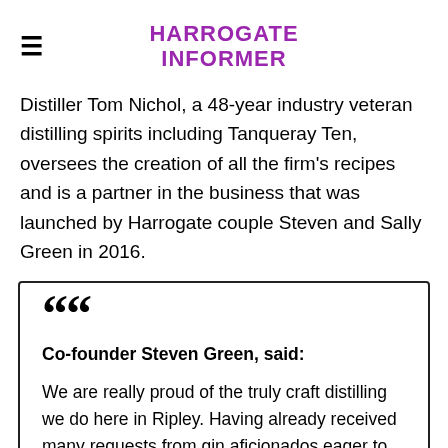HARROGATE INFORMER
Distiller Tom Nichol, a 48-year industry veteran distilling spirits including Tanqueray Ten, oversees the creation of all the firm's recipes and is a partner in the business that was launched by Harrogate couple Steven and Sally Green in 2016.
Co-founder Steven Green, said: We are really proud of the truly craft distilling we do here in Ripley. Having already received many requests from gin aficionados eager to see our copper stills and have a peek behind